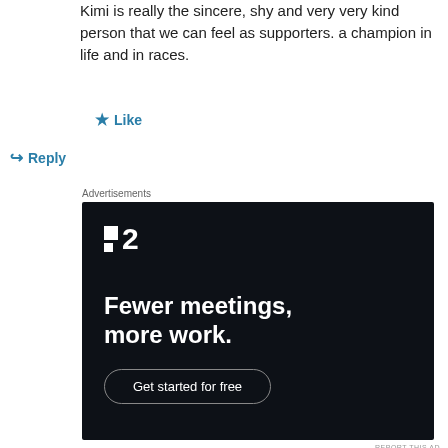Kimi is really the sincere, shy and very very kind person that we can feel as supporters. a champion in life and in races.
★ Like
↪ Reply
Advertisements
[Figure (screenshot): Advertisement for a productivity app (F2) with dark background. Shows logo with two squares and '2', tagline 'Fewer meetings, more work.' and a 'Get started for free' button.]